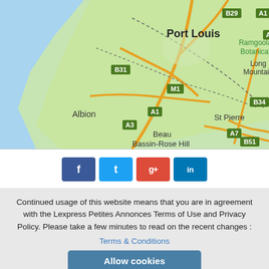[Figure (map): Google Maps screenshot showing Port Louis area of Mauritius with roads labeled B29, A1, A2, B31, M1, A3, B34, B51, A7, and place names including Port Louis, Long Mountain, Albion, Beau Bassin-Rose Hill, St Pierre, Ramgoolam Botanical...]
[Figure (infographic): Social media share buttons: Facebook (blue), Twitter (light blue), Google+ (red), LinkedIn (teal)]
Continued usage of this website means that you are in agreement with the Lexpress Petites Annonces Terms of Use and Privacy Policy. Please take a few minutes to read on the recent changes :
Terms & Conditions
Allow cookies